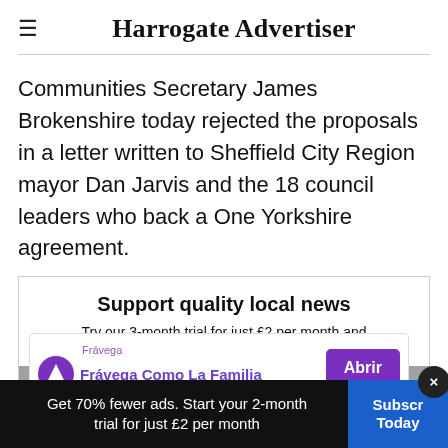Harrogate Advertiser
Communities Secretary James Brokenshire today rejected the proposals in a letter written to Sheffield City Region mayor Dan Jarvis and the 18 council leaders who back a One Yorkshire agreement.
Support quality local news
Try our 3-month trial for just £2 per month and get...
Get 70% fewer ads. Start your 2-month trial for just £2 per month